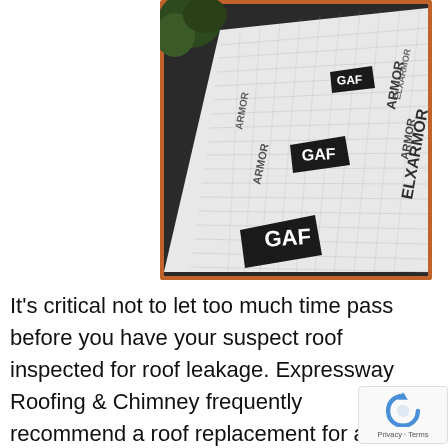[Figure (photo): Photograph of roofing underlayment material branded GAF ELK ARMOR being installed on a roof deck. The white grid-patterned underlayment rolls are spread across dark roof sheathing, with tree branches visible in the upper left corner. The image has an orange/rust-colored border.]
It's critical not to let too much time pass before you have your suspect roof inspected for roof leakage. Expressway Roofing & Chimney frequently recommend a roof replacement for a visibly